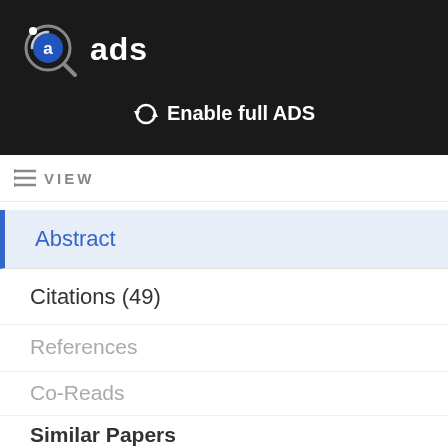[Figure (logo): ADS (Astrophysics Data System) logo — circular magnifier icon with letter 'a' and text 'ads' in white on dark background header]
Enable full ADS
VIEW
Abstract
Citations (49)
References
Co-Reads
Similar Papers
Volume Content
Graphics